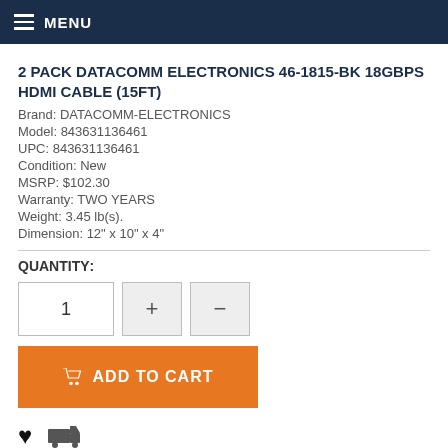MENU
2 PACK DATACOMM ELECTRONICS 46-1815-BK 18GBPS HDMI CABLE (15FT)
Brand: DATACOMM-ELECTRONICS
Model: 843631136461
UPC: 843631136461
Condition: New
MSRP: $102.30
Warranty: TWO YEARS
Weight: 3.45 lb(s).
Dimension: 12" x 10" x 4"
QUANTITY:
[Figure (other): Quantity selector with input box showing 1, plus button, and minus button]
[Figure (other): Add to cart orange button with cart icon]
[Figure (other): Heart (wishlist) icon and truck (shipping) icon]
PRODUCT DETAILS